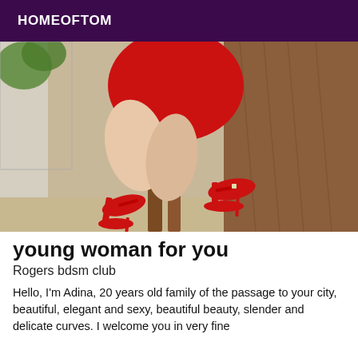HOMEOFTOM
[Figure (photo): A young woman in a short red dress and red high-heeled strappy sandals, seated on a wooden chair, legs crossed, photographed from torso down.]
young woman for you
Rogers bdsm club
Hello, I'm Adina, 20 years old family of the passage to your city, beautiful, elegant and sexy, beautiful beauty, slender and delicate curves. I welcome you in very fine